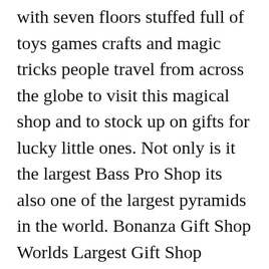with seven floors stuffed full of toys games crafts and magic tricks people travel from across the globe to visit this magical shop and to stock up on gifts for lucky little ones. Not only is it the largest Bass Pro Shop its also one of the largest pyramids in the world. Bonanza Gift Shop Worlds Largest Gift Shop established in one of the first historical Las Vegas Strip shopping centers in 1980 is a virtual cornucopia of Las Vegas souvenirs and gifts with a little bit of everything else thrown in. So apparently the 7th largest pyramid is a bass pro shop from